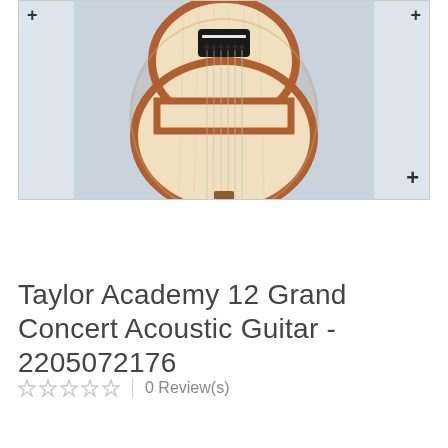[Figure (photo): Top-down view of a Taylor Academy 12 Grand Concert Acoustic Guitar body, showing the spruce top with visible grain, black bridge with saddle and string pins, and reddish-brown sides, on a grey-blue background. Navigation arrows visible at top corners and a zoom plus button at bottom right.]
Taylor Academy 12 Grand Concert Acoustic Guitar - 2205072176
0 Review(s)